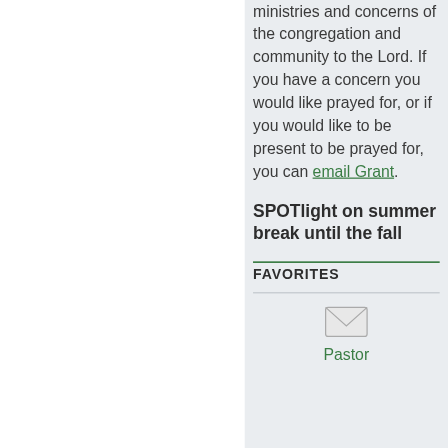ministries and concerns of the congregation and community to the Lord. If you have a concern you would like prayed for, or if you would like to be present to be prayed for, you can email Grant.
SPOTlight on summer break until the fall
FAVORITES
[Figure (illustration): Envelope/mail icon]
Pastor